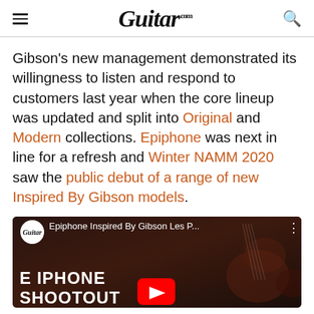Guitar.com
Gibson's new management demonstrated its willingness to listen and respond to customers last year when the core lineup was updated and split into Original and Modern collections. Epiphone was next in line for a refresh and Winter NAMM 2020 saw the public debut of a range of new Inspired By Gibson models.
[Figure (screenshot): YouTube video thumbnail showing 'Epiphone Inspired By Gibson Les P...' with Guitar.com logo, EPIPHONE SHOOTOUT text, guitar images, and YouTube play button]